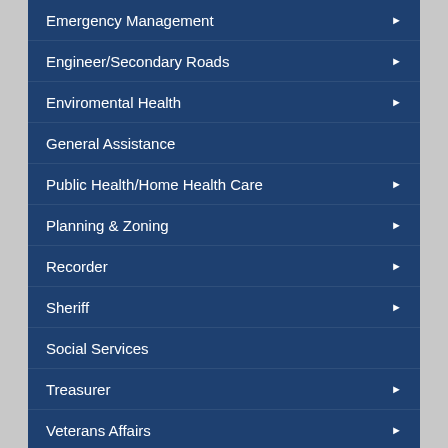Emergency Management
Engineer/Secondary Roads
Enviromental Health
General Assistance
Public Health/Home Health Care
Planning & Zoning
Recorder
Sheriff
Social Services
Treasurer
Veterans Affairs